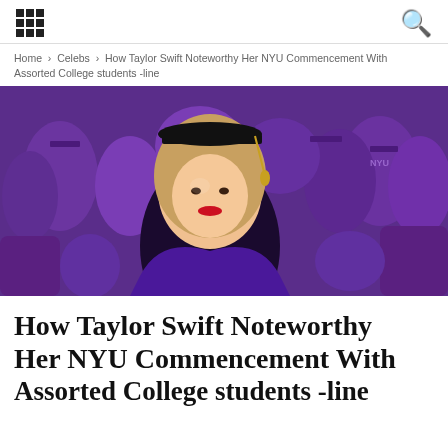[navigation icons: grid menu and search]
Home › Celebs › How Taylor Swift Noteworthy Her NYU Commencement With Assorted College students -line
[Figure (photo): Taylor Swift wearing black doctoral cap with gold tassel and purple graduation gown at NYU commencement ceremony, surrounded by graduates in purple robes. She has long blonde hair, red lipstick, and is looking upward. Crowd of graduates in purple in background.]
How Taylor Swift Noteworthy Her NYU Commencement With Assorted College students -line